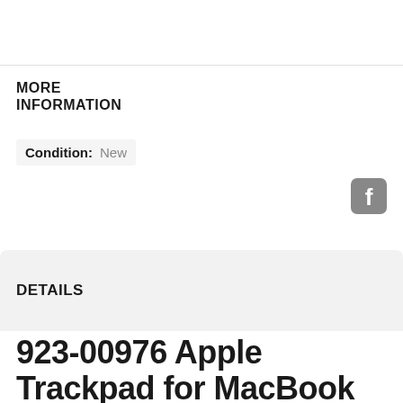MORE INFORMATION
Condition: New
[Figure (logo): Facebook icon - grey rounded square with white 'f' letter]
DETAILS
923-00976 Apple Trackpad for MacBook Air 13" Ear...